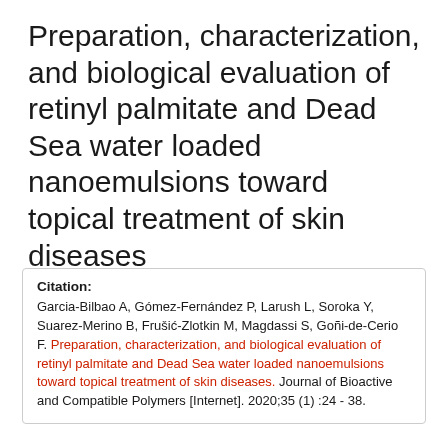Preparation, characterization, and biological evaluation of retinyl palmitate and Dead Sea water loaded nanoemulsions toward topical treatment of skin diseases
Citation: Garcia-Bilbao A, Gómez-Fernández P, Larush L, Soroka Y, Suarez-Merino B, Frušić-Zlotkin M, Magdassi S, Goñi-de-Cerio F. Preparation, characterization, and biological evaluation of retinyl palmitate and Dead Sea water loaded nanoemulsions toward topical treatment of skin diseases. Journal of Bioactive and Compatible Polymers [Internet]. 2020;35 (1) :24 - 38.